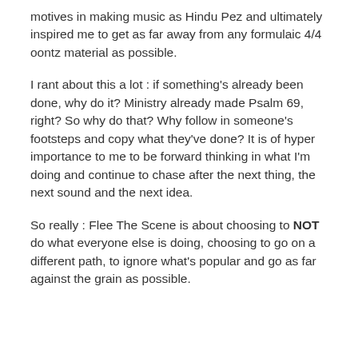motives in making music as Hindu Pez and ultimately inspired me to get as far away from any formulaic 4/4 oontz material as possible.
I rant about this a lot : if something's already been done, why do it? Ministry already made Psalm 69, right? So why do that? Why follow in someone's footsteps and copy what they've done? It is of hyper importance to me to be forward thinking in what I'm doing and continue to chase after the next thing, the next sound and the next idea.
So really : Flee The Scene is about choosing to NOT do what everyone else is doing, choosing to go on a different path, to ignore what's popular and go as far against the grain as possible.